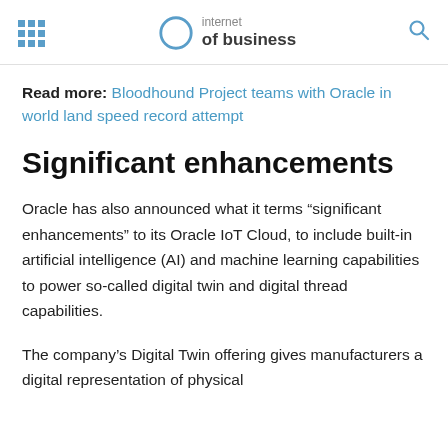internet of business
Read more: Bloodhound Project teams with Oracle in world land speed record attempt
Significant enhancements
Oracle has also announced what it terms “significant enhancements” to its Oracle IoT Cloud, to include built-in artificial intelligence (AI) and machine learning capabilities to power so-called digital twin and digital thread capabilities.
The company’s Digital Twin offering gives manufacturers a digital representation of physical